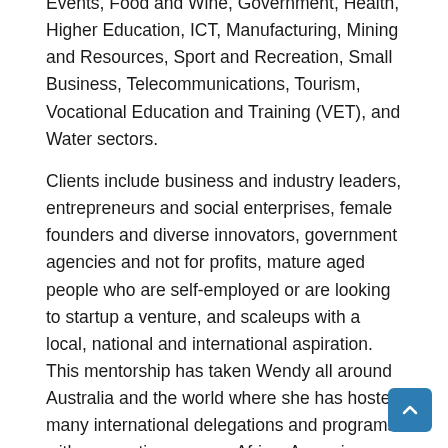Events, Food and Wine, Government, Health, Higher Education, ICT, Manufacturing, Mining and Resources, Sport and Recreation, Small Business, Telecommunications, Tourism, Vocational Education and Training (VET), and Water sectors.
Clients include business and industry leaders, entrepreneurs and social enterprises, female founders and diverse innovators, government agencies and not for profits, mature aged people who are self-employed or are looking to startup a venture, and scaleups with a local, national and international aspiration. This mentorship has taken Wendy all around Australia and the world where she has hosted many international delegations and programs with connections across Africa, Armenia, Bangladesh, Bhutan, Cambodia, Cameroon, Chile,